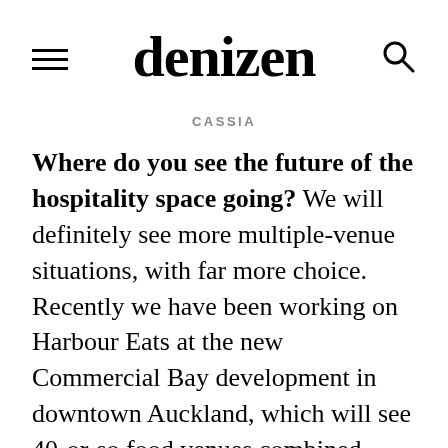denizen
CASSIA
Where do you see the future of the hospitality space going? We will definitely see more multiple-venue situations, with far more choice. Recently we have been working on Harbour Eats at the new Commercial Bay development in downtown Auckland, which will see 40-or-so food venues combined under one roof. There